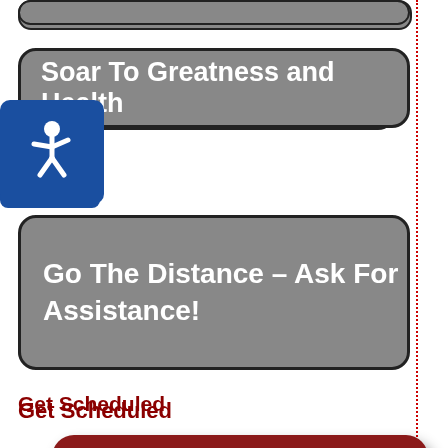[Figure (illustration): Partial grey rounded rectangle bar cut off at top of page]
Soar To Greatness and Health
[Figure (illustration): Blue accessibility wheelchair icon badge]
Go The Distance – Ask For Assistance!
Get Scheduled
[Figure (illustration): Dark red rounded rectangle button with calendar icon and text 'Schedule an Appointment']